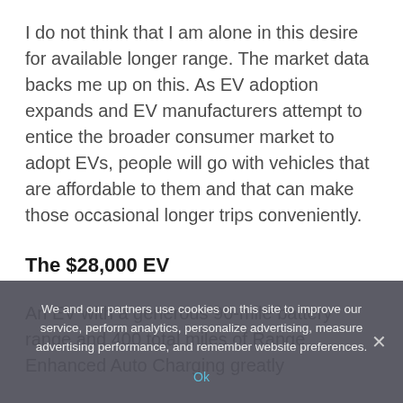I do not think that I am alone in this desire for available longer range. The market data backs me up on this. As EV adoption expands and EV manufacturers attempt to entice the broader consumer market to adopt EVs, people will go with vehicles that are affordable to them and that can make those occasional longer trips conveniently.
The $28,000 EV
An EV with a generous 90-mile battery range and 400 total miles of Range Enhanced Auto Charging greatly
We and our partners use cookies on this site to improve our service, perform analytics, personalize advertising, measure advertising performance, and remember website preferences.